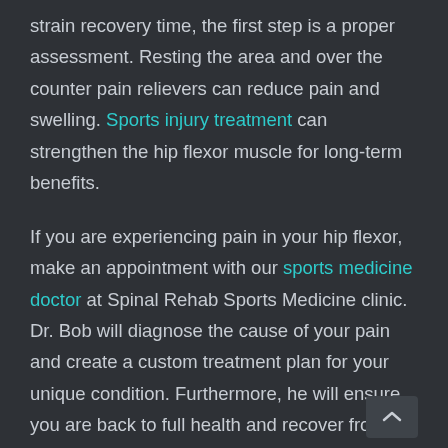strain recovery time, the first step is a proper assessment. Resting the area and over the counter pain relievers can reduce pain and swelling. Sports injury treatment can strengthen the hip flexor muscle for long-term benefits.
If you are experiencing pain in your hip flexor, make an appointment with our sports medicine doctor at Spinal Rehab Sports Medicine clinic. Dr. Bob will diagnose the cause of your pain and create a custom treatment plan for your unique condition. Furthermore, he will ensure you are back to full health and recover from your sports injuries fast.